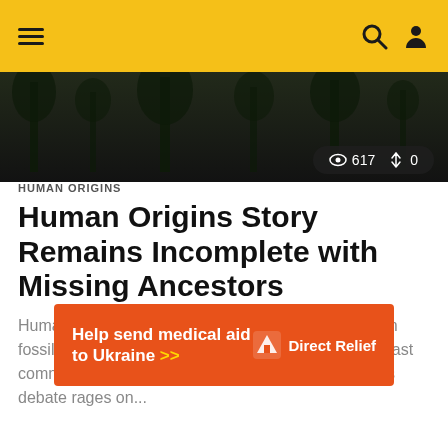Navigation header with hamburger menu, search and user icons on yellow background
[Figure (photo): Dark hero image of a forest/nature scene with view count 617 and share count 0 overlay]
HUMAN ORIGINS
Human Origins Story Remains Incomplete with Missing Ancestors
Human origins remain unclear given studies of known fossils, concludes a new Science review. Today, our last common ancestor with the apes remains unknown as debate rages on...
[Figure (other): Orange advertisement banner: Help send medical aid to Ukraine >> with Direct Relief logo]